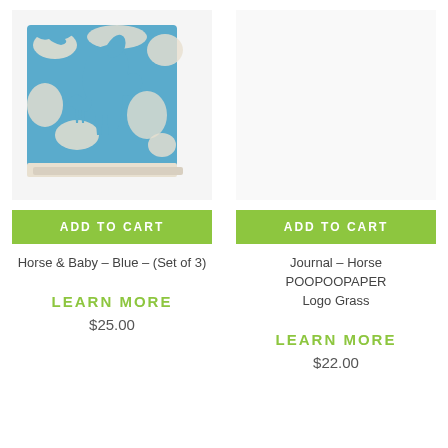[Figure (photo): A square stack of textured paper/notepad with a blue background featuring white horse and baby horse silhouette design, viewed at an angle.]
ADD TO CART
ADD TO CART
Horse & Baby – Blue – (Set of 3)
Journal – Horse POOPOOPAPER Logo Grass
LEARN MORE
LEARN MORE
$25.00
$22.00